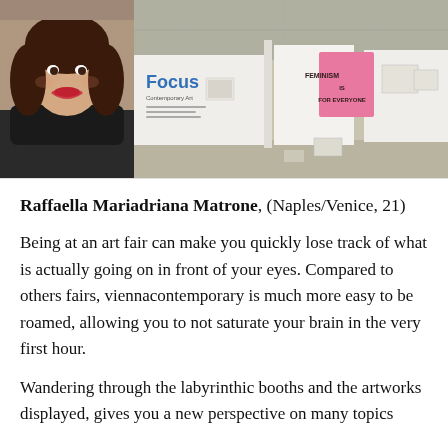[Figure (photo): Two photos side by side: left is a portrait of a young woman with curly dark hair and red lips smiling; right is an interior shot of an art fair with white walls, 'Focus' signage, and a pink banner artwork hanging on the wall.]
Raffaella Mariadriana Matrone, (Naples/Venice, 21)
Being at an art fair can make you quickly lose track of what is actually going on in front of your eyes. Compared to others fairs, viennacontemporary is much more easy to be roamed, allowing you to not saturate your brain in the very first hour.
Wandering through the labyrinthic booths and the artworks displayed, gives you a new perspective on many topics the discussion in the contemporary art form of discourse...